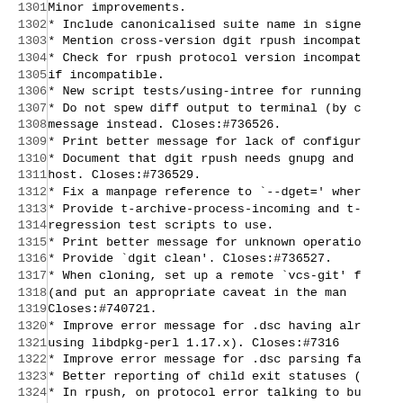| line | code |
| --- | --- |
| 1301 | Minor improvements. |
| 1302 |   * Include canonicalised suite name in signe |
| 1303 |   * Mention cross-version dgit rpush incompat |
| 1304 |   * Check for rpush protocol version incompat |
| 1305 |     if incompatible. |
| 1306 |   * New script tests/using-intree for running |
| 1307 |   * Do not spew diff output to terminal (by c |
| 1308 |     message instead.  Closes:#736526. |
| 1309 |   * Print better message for lack of configur |
| 1310 |   * Document that dgit rpush needs gnupg and |
| 1311 |     host.  Closes:#736529. |
| 1312 |   * Fix a manpage reference to `--dget=' wher |
| 1313 |   * Provide t-archive-process-incoming and t- |
| 1314 |     regression test scripts to use. |
| 1315 |   * Print better message for unknown operatio |
| 1316 |   * Provide `dgit clean'.  Closes:#736527. |
| 1317 |   * When cloning, set up a remote `vcs-git' f |
| 1318 |     (and put an appropriate caveat in the man |
| 1319 |     Closes:#740721. |
| 1320 |   * Improve error message for .dsc having alr |
| 1321 |     using libdpkg-perl 1.17.x).  Closes:#7316 |
| 1322 |   * Improve error message for .dsc parsing fa |
| 1323 |   * Better reporting of child exit statuses ( |
| 1324 |   * In rpush, on protocol error talking to bu |
| 1325 |     subprocess died and report differently if |
| 1326 |   * Fixed a manpage typo. |
| 1327 |   * When tests invoke dgit, use --dgit= so th |
| 1328 |     dgit rather than system one. |
| 1329 |   * Add a test for dgit rpush. |
| 1330 |  |
| 1331 |   Minor features, notably installable with |